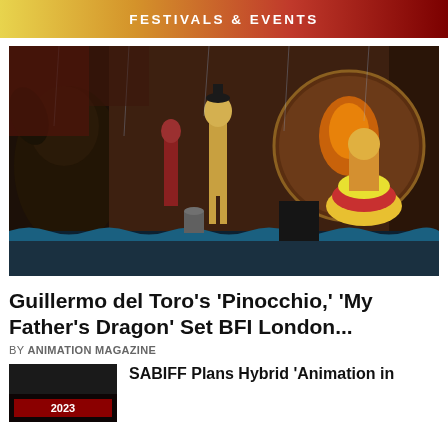FESTIVALS & EVENTS
[Figure (photo): Scene from Guillermo del Toro's Pinocchio stop-motion animation showing puppet characters on a theatrical stage with ornate backdrop, dark lighting, featuring a creature on the left and Pinocchio puppet center stage with another character to the right.]
Guillermo del Toro's 'Pinocchio,' 'My Father's Dragon' Set BFI London...
BY ANIMATION MAGAZINE
SABIFF Plans Hybrid 'Animation in
[Figure (photo): Small thumbnail image for SABIFF article, dark background with red text/graphics, appears to show a festival or event graphic.]